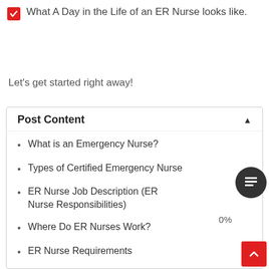What A Day in the Life of an ER Nurse looks like.
Let's get started right away!
Post Content
What is an Emergency Nurse?
Types of Certified Emergency Nurse
ER Nurse Job Description (ER Nurse Responsibilities)
Where Do ER Nurses Work?
ER Nurse Requirements